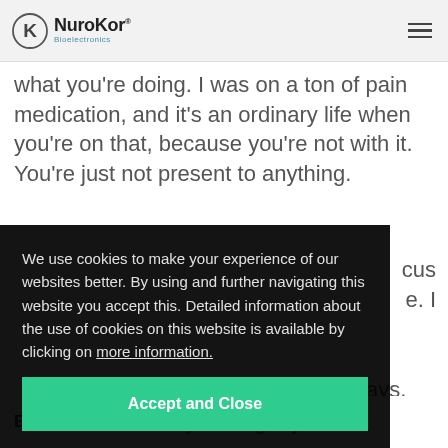[Figure (logo): NuroKor Bioelectronics logo with circular K icon and hamburger menu icon]
what you're doing. I was on a ton of pain medication, and it's an ordinary life when you're on that, because you're not with it. You're just not present to anything.
We use cookies to make your experience of our websites better. By using and further navigating this website you accept this. Detailed information about the use of cookies on this website is available by clicking on more information.
Accept and Close
Elizabeth:
So after you've got your